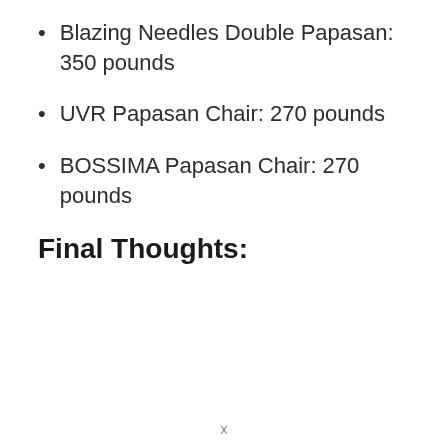Blazing Needles Double Papasan: 350 pounds
UVR Papasan Chair: 270 pounds
BOSSIMA Papasan Chair: 270 pounds
Final Thoughts:
x